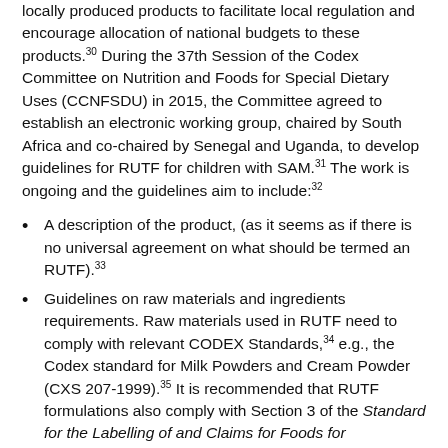locally produced products to facilitate local regulation and encourage allocation of national budgets to these products.30 During the 37th Session of the Codex Committee on Nutrition and Foods for Special Dietary Uses (CCNFSDU) in 2015, the Committee agreed to establish an electronic working group, chaired by South Africa and co-chaired by Senegal and Uganda, to develop guidelines for RUTF for children with SAM.31 The work is ongoing and the guidelines aim to include:32
A description of the product, (as it seems as if there is no universal agreement on what should be termed an RUTF).33
Guidelines on raw materials and ingredients requirements. Raw materials used in RUTF need to comply with relevant CODEX Standards,34 e.g., the Codex standard for Milk Powders and Cream Powder (CXS 207-1999).35 It is recommended that RUTF formulations also comply with Section 3 of the Standard for the Labelling of and Claims for Foods for Special Medical Purposes (CXS 180-1991) whereby...